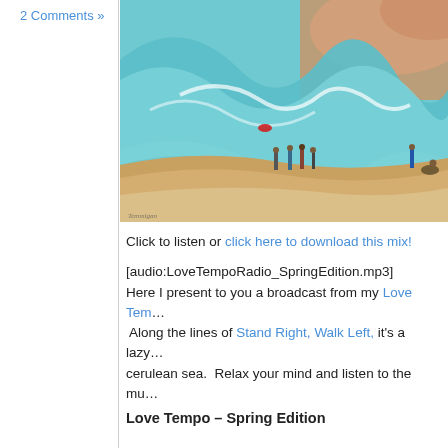2 Comments »
[Figure (photo): Painting of a beach scene with large turquoise waves and people standing on sandy shore, with a surreal hand/body element blended into the wave at the top right.]
Click to listen or click here to download this mix!
[audio:LoveTempoRadio_SpringEdition.mp3]
Here I present to you a broadcast from my Love Tem…
 Along the lines of Stand Right, Walk Left, it's a lazy…
cerulean sea.  Relax your mind and listen to the mu…
Love Tempo – Spring Edition